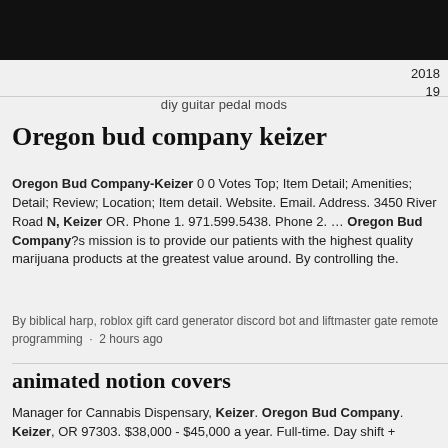2018
19
diy guitar pedal mods
Oregon bud company keizer
Oregon Bud Company-Keizer 0 0 Votes Top; Item Detail; Amenities; Detail; Review; Location; Item detail. Website. Email. Address. 3450 River Road N, Keizer OR. Phone 1. 971.599.5438. Phone 2. ... Oregon Bud Company?s mission is to provide our patients with the highest quality marijuana products at the greatest value around. By controlling the.
By biblical harp, roblox gift card generator discord bot and liftmaster gate remote programming · 2 hours ago
animated notion covers
Manager for Cannabis Dispensary, Keizer. Oregon Bud Company. Keizer, OR 97303. $38,000 - $45,000 a year. Full-time. Day shift +